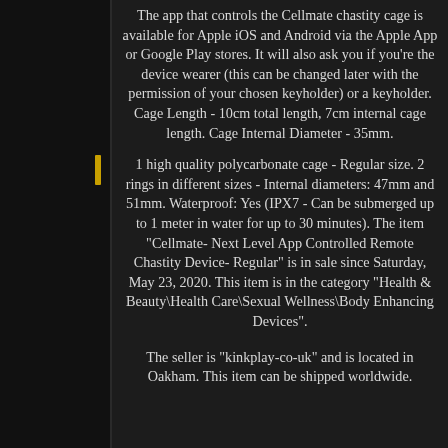The app that controls the Cellmate chastity cage is available for Apple iOS and Android via the Apple App or Google Play stores. It will also ask you if you're the device wearer (this can be changed later with the permission of your chosen keyholder) or a keyholder. Cage Length - 10cm total length, 7cm internal cage length. Cage Internal Diameter - 35mm.
1 high quality polycarbonate cage - Regular size. 2 rings in different sizes - Internal diameters: 47mm and 51mm. Waterproof: Yes (IPX7 - Can be submerged up to 1 meter in water for up to 30 minutes). The item "Cellmate- Next Level App Controlled Remote Chastity Device- Regular" is in sale since Saturday, May 23, 2020. This item is in the category "Health & Beauty\Health Care\Sexual Wellness\Body Enhancing Devices".
The seller is "kinkplay-co-uk" and is located in Oakham. This item can be shipped worldwide.